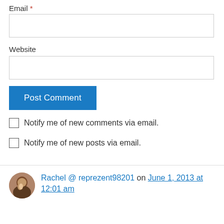Email *
Website
Post Comment
Notify me of new comments via email.
Notify me of new posts via email.
Rachel @ reprezent98201 on June 1, 2013 at 12:01 am